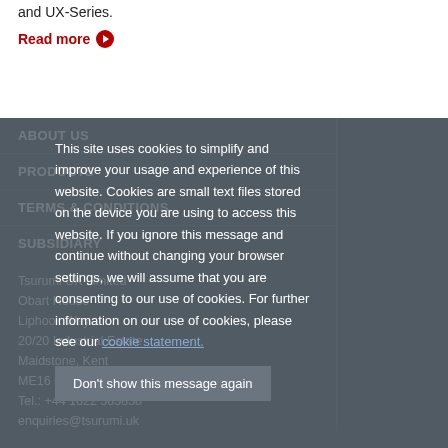and UX-Series.
Read more
ABOUT US
PRODUCTS
TERMS & CONDITIONS
SUBSIDIARY
Tsurumi UK Limited
Obart House
Liphook Way
20/20 Industrial Estate
Maidstone, Kent
ME16 0FZ
Tel.: +44 1622 585858
enquiries@tsurumi.uk
This site uses cookies to simplify and improve your usage and experience of this website. Cookies are small text files stored on the device you are using to access this website. If you ignore this message and continue without changing your browser settings, we will assume that you are consenting to our use of cookies. For further information on our use of cookies, please see our cookie statement.
Don't show this message again